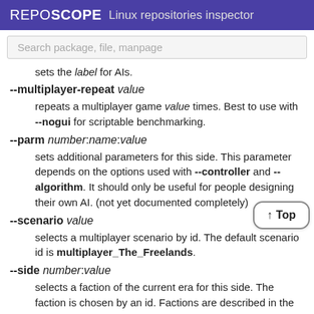REPOSCOPE  Linux repositories inspector
Search package, file, manpage
sets the label for AIs.
--multiplayer-repeat value
repeats a multiplayer game value times. Best to use with --nogui for scriptable benchmarking.
--parm number:name:value
sets additional parameters for this side. This parameter depends on the options used with --controller and --algorithm. It should only be useful for people designing their own AI. (not yet documented completely)
--scenario value
selects a multiplayer scenario by id. The default scenario id is multiplayer_The_Freelands.
--side number:value
selects a faction of the current era for this side. The faction is chosen by an id. Factions are described in the data/multiplayer.cfg file.